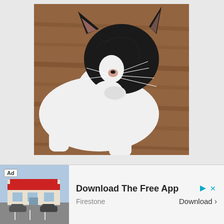[Figure (photo): A black and white tuxedo cat lying on a wooden floor, grooming itself with its paw raised to its face. The cat has a black head with white chest and paws, long white whiskers visible.]
[Figure (screenshot): An advertisement banner at the bottom of the page. Contains an 'Ad' label badge, a thumbnail image of a Firestone auto care store with red/white signage, text reading 'Download The Free App', brand name 'Firestone', a 'Download >' button, and close/play icons in teal/cyan color.]